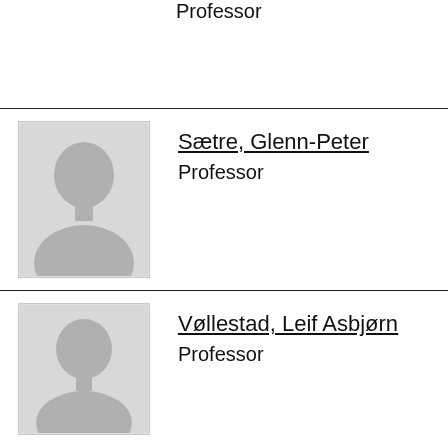Professor
[Figure (photo): Placeholder silhouette photo for Sætre, Glenn-Peter]
Sætre, Glenn-Peter
Professor
[Figure (photo): Placeholder silhouette photo for Vøllestad, Leif Asbjørn]
Vøllestad, Leif Asbjørn
Professor